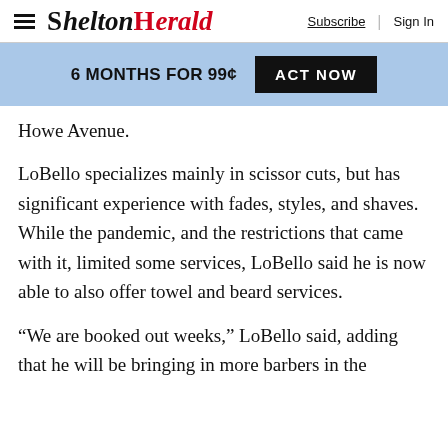SHELTONHERALD — Subscribe | Sign In
[Figure (infographic): Promotional banner: '6 MONTHS FOR 99¢  ACT NOW' on light blue background with black button]
Howe Avenue.
LoBello specializes mainly in scissor cuts, but has significant experience with fades, styles, and shaves. While the pandemic, and the restrictions that came with it, limited some services, LoBello said he is now able to also offer towel and beard services.
“We are booked out weeks,” LoBello said, adding that he will be bringing in more barbers in the